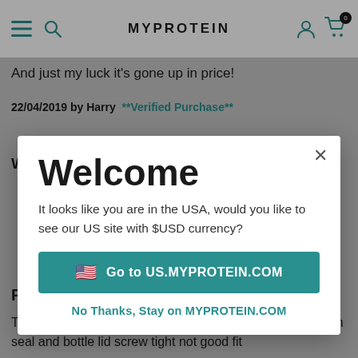MYPROTEIN
And just my luck it's gone up in price!
22/04/2019 by Harry  **Verified Purchase**
Welcome
It looks like you are in the USA, would you like to see our US site with $USD currency?
Go to US.MYPROTEIN.COM
No Thanks, Stay on MYPROTEIN.COM
Poor quality
Took gym for first time. Didn't last one session. Cracked on seal and bottle lid screw tight not good fit